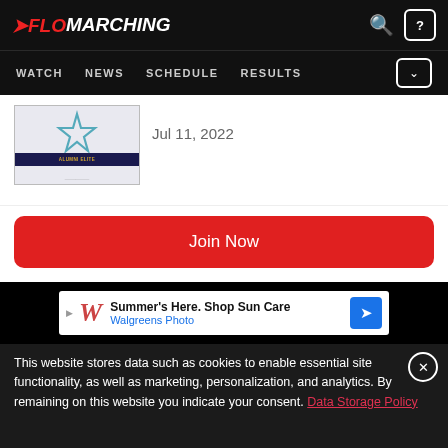FLOMARCHING — WATCH  NEWS  SCHEDULE  RESULTS
[Figure (screenshot): Thumbnail image with blue star and dark navy banner with gold text]
Jul 11, 2022
Join Now
[Figure (screenshot): Walgreens ad: Summer's Here. Shop Sun Care — Walgreens Photo]
This website stores data such as cookies to enable essential site functionality, as well as marketing, personalization, and analytics. By remaining on this website you indicate your consent. Data Storage Policy